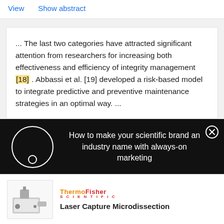View   Show abstract
... The last two categories have attracted significant attention from researchers for increasing both effectiveness and efficiency of integrity management [18] . Abbassi et al. [19] developed a risk-based model to integrate predictive and preventive maintenance strategies in an optimal way. ...
[Figure (screenshot): Advertisement overlay on black background with a circular logo placeholder and text: How to make your scientific brand an industry name with always-on marketing. Close button (X) in top right.]
[Figure (photo): Thermo Fisher Scientific product image - Laser Capture Microdissection instrument]
Laser Capture Microdissection